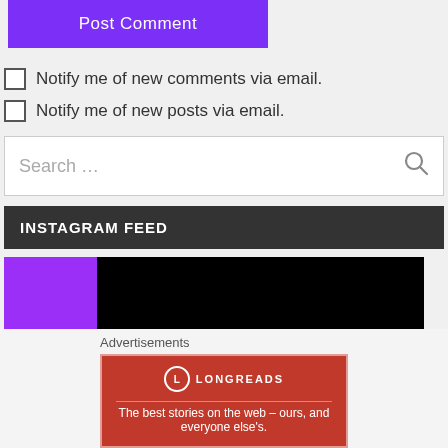[Figure (screenshot): Purple 'Post Comment' button]
Notify me of new comments via email.
Notify me of new posts via email.
[Figure (screenshot): Search input box with magnifying glass icon]
INSTAGRAM FEED
[Figure (screenshot): Instagram feed image area — black background with purple rectangle overlay]
Advertisements
[Figure (screenshot): Longreads advertisement — red background with logo and tagline: The best stories on the web – ours, and everyone else's.]